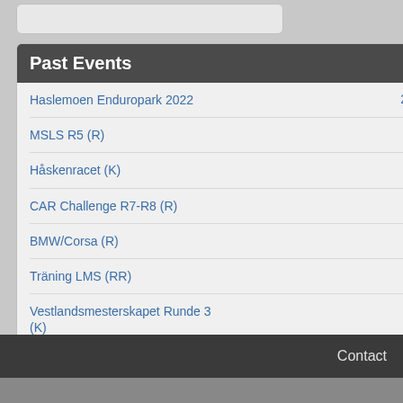Past Events
Haslemoen Enduropark 2022 | 27 Aug - 28 Aug
MSLS R5 (R) | 27 August
Håskenracet (K) | 27 August
CAR Challenge R7-R8 (R) | 27 August
BMW/Corsa (R) | 27 August
Träning LMS (RR) | 23 August
Vestlandsmesterskapet Runde 3 (K) | 20 August
NM (RR) | 19 Aug - 21 Aug
Träning LMS (RR) | 16 August
HELdagstrening (RR) | 15 August
More ▶
Contact